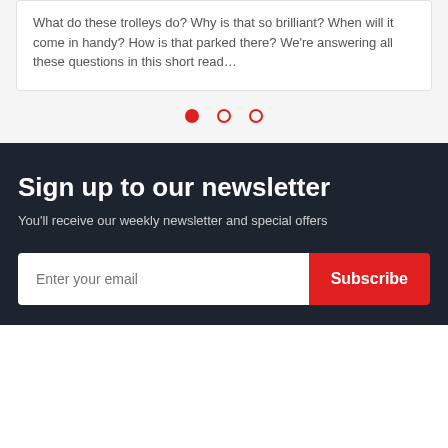What do these trolleys do? Why is that so brilliant? When will it come in handy? How is that parked there? We're answering all these questions in this short read…
[Figure (other): Carousel pagination dots: one filled red circle and two empty red circles]
Sign up to our newsletter
You'll receive our weekly newsletter and special offers
Enter your email  Subscribe